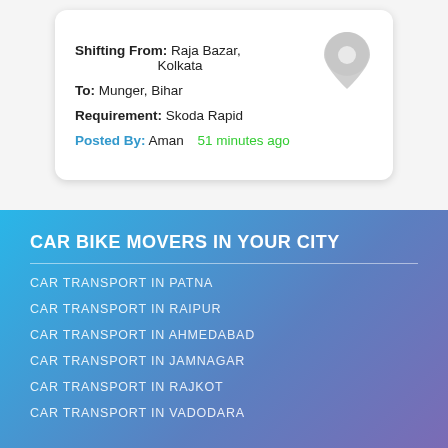Shifting From: Raja Bazar, Kolkata
To: Munger, Bihar
Requirement: Skoda Rapid
Posted By: Aman   51 minutes ago
CAR BIKE MOVERS IN YOUR CITY
CAR TRANSPORT IN PATNA
CAR TRANSPORT IN RAIPUR
CAR TRANSPORT IN AHMEDABAD
CAR TRANSPORT IN JAMNAGAR
CAR TRANSPORT IN RAJKOT
CAR TRANSPORT IN VADODARA